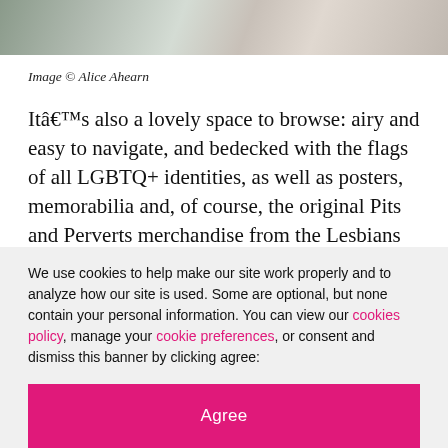[Figure (photo): Cropped photograph showing a colorful shop or space with rainbow flags visible, partial view of a car and shopfront]
Image © Alice Ahearn
It's also a lovely space to browse: airy and easy to navigate, and bedecked with the flags of all LGBTQ+ identities, as well as posters, memorabilia and, of course, the original Pits and Perverts merchandise from the Lesbians and Gays Support the Miners movement.
There's a packed events programme too. Up next is
We use cookies to help make our site work properly and to analyze how our site is used. Some are optional, but none contain your personal information. You can view our cookies policy, manage your cookie preferences, or consent and dismiss this banner by clicking agree:
Agree